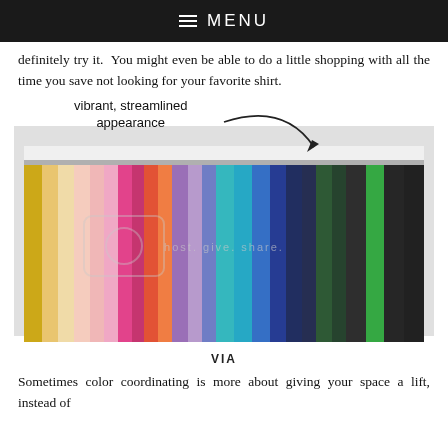≡ MENU
definitely try it.  You might even be able to do a little shopping with all the time you save not looking for your favorite shirt.
[Figure (photo): A clothing rack with garments organized by color, creating a rainbow-like arrangement from yellows and pinks on the left to teals, blues, and greens on the right. An annotation reads 'vibrant, streamlined appearance' with an arrow pointing to the clothing.]
VIA
Sometimes color coordinating is more about giving your space a lift, instead of